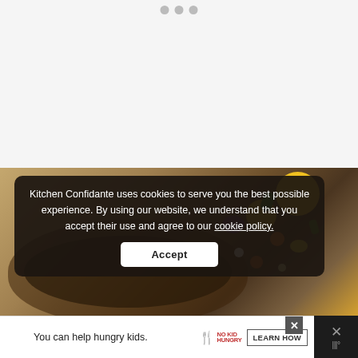[Figure (screenshot): Top white/gray area with three navigation dots (carousel indicators) — two gray and one slightly darker, centered at top.]
[Figure (photo): Food photography image showing a dark wooden bowl filled with colorful chopped vegetables including yellow, red, green, purple and orange pieces, on a warm wooden surface background. Partial website UI overlaid with yellow circular elements and icons on the right side.]
Kitchen Confidante uses cookies to serve you the best possible experience. By using our website, we understand that you accept their use and agree to our cookie policy.
Accept
[Figure (screenshot): Bottom advertisement banner: 'You can help hungry kids.' with No Kid Hungry logo and 'LEARN HOW' button, with close (X) button. Right side dark panel with X and temperature icon.]